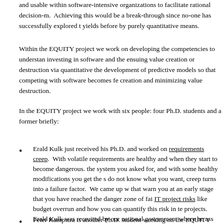and usable within software-intensive organizations to facilitate rational decision-m. Achieving this would be a break-through since no-one has successfully explored t yields before by purely quantitative means.
Within the EQUITY project we work on developing the competencies to understan investing in software and the ensuing value creation or destruction via quantitative the development of predictive models so that competing with software becomes fe creation and minimizing value destruction.
In the EQUITY project we work with six people: four Ph.D. students and a former briefly:
Erald Kulk just received his Ph.D. and worked on requirements creep. With volatile requirements are healthy and when they start to become dangerous. the system you asked for, and with some healthy modifications you get the s do not know what you want, creep turns into a failure factor. We came up w that warn you at an early stage that you have reached the danger zone of fai IT project risks like budget overrun and how you can quantify this risk in te projects. Erald Kulk was recruited by our national government where he ass the installation of nationwide IT portfolio management to improve the IT pe
Peter Kampstra is another Ph.D. student working on the EQUITY project.